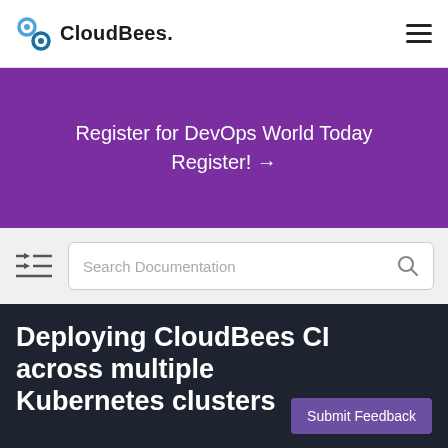CloudBees.
Register for DevOps World Today
Register! →
[Figure (other): Search Documentation input box with magnifying glass icon and TOC/menu icon on the left]
Deploying CloudBees CI across multiple Kubernetes clusters
Submit Feedback